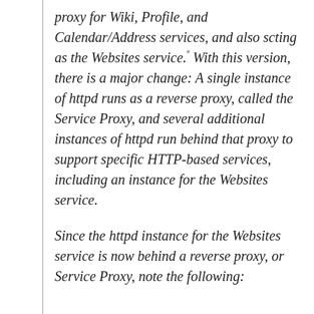proxy for Wiki, Profile, and Calendar/Address services, and also scting as the Websites service.° With this version, there is a major change: A single instance of httpd runs as a reverse proxy, called the Service Proxy, and several additional instances of httpd run behind that proxy to support specific HTTP-based services, including an instance for the Websites service.
Since the httpd instance for the Websites service is now behind a reverse proxy, or Service Proxy, note the following:
...